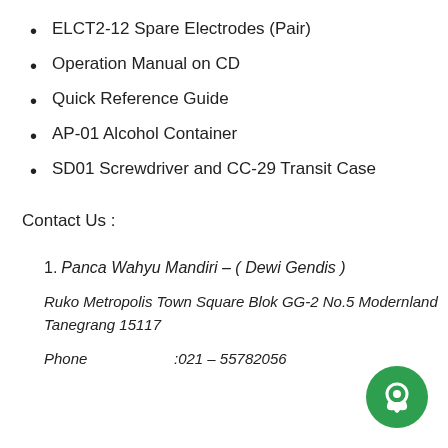ELCT2-12 Spare Electrodes (Pair)
Operation Manual on CD
Quick Reference Guide
AP-01 Alcohol Container
SD01 Screwdriver and CC-29 Transit Case
Contact Us :
1. Panca Wahyu Mandiri – ( Dewi Gendis )
Ruko Metropolis Town Square Blok GG-2 No.5 Modernland Tanegrang 15117
Phone          :021 – 55782056
[Figure (illustration): Green circular chat/messenger button icon in the bottom-right corner]